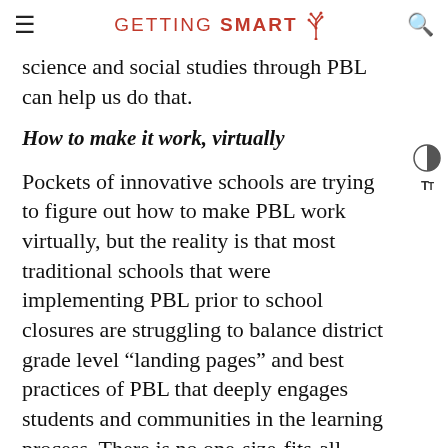GETTING SMART
science and social studies through PBL can help us do that.
How to make it work, virtually
Pockets of innovative schools are trying to figure out how to make PBL work virtually, but the reality is that most traditional schools that were implementing PBL prior to school closures are struggling to balance district grade level “landing pages” and best practices of PBL that deeply engages students and communities in the learning process. There is no one-size-fits-all solution for how to go about implementing PBL before, during, or after COVID-19 but there are